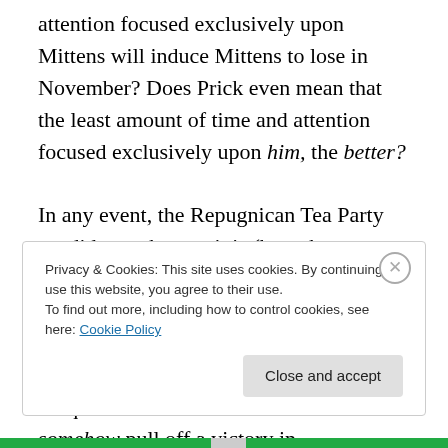attention focused exclusively upon Mittens will induce Mittens to lose in November? Does Prick even mean that the least amount of time and attention focused exclusively upon him, the better?
In any event, the Repugnican Tea Party candidate, whoever it is (but who very most likely will be Mittens), most likely will lose to incumbent Barack Obama anyway. While I suppose that it's not absolutely impossible for the wooden, milquetoast multi-millionaire Mittens to somehow pull off a victory in
Privacy & Cookies: This site uses cookies. By continuing to use this website, you agree to their use.
To find out more, including how to control cookies, see here: Cookie Policy